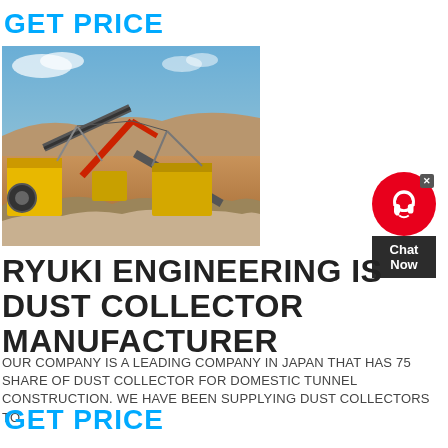GET PRICE
[Figure (photo): Aerial view of an open-pit mining or quarry site with yellow heavy machinery, conveyor belts, and a red crane arm against a dry desert landscape under blue sky.]
RYUKI ENGINEERING IS DUST COLLECTOR MANUFACTURER
OUR COMPANY IS A LEADING COMPANY IN JAPAN THAT HAS 75 SHARE OF DUST COLLECTOR FOR DOMESTIC TUNNEL CONSTRUCTION. WE HAVE BEEN SUPPLYING DUST COLLECTORS TO
GET PRICE